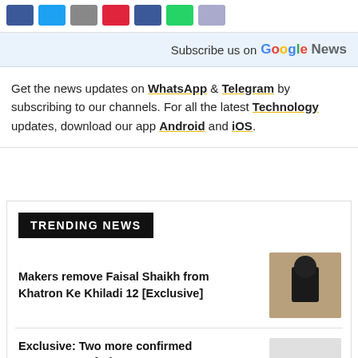[Figure (other): Row of social media share buttons: Facebook (blue), Twitter (light blue), grey, Pinterest (red), Facebook (blue), WhatsApp (green), grey]
Subscribe us on Google News
Get the news updates on WhatsApp & Telegram by subscribing to our channels. For all the latest Technology updates, download our app Android and iOS.
TRENDING NEWS
Makers remove Faisal Shaikh from Khatron Ke Khiladi 12 [Exclusive]
[Figure (photo): Thumbnail photo of a young man in a black t-shirt]
Exclusive: Two more confirmed contestants of Bigg Boss 16